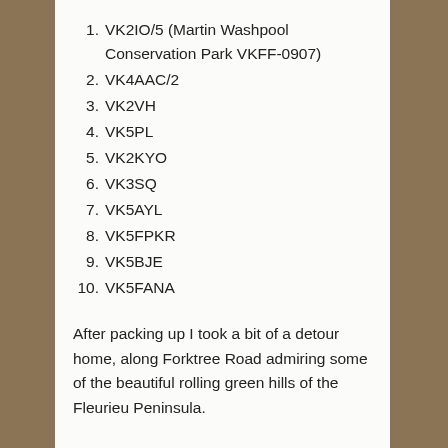1. VK2IO/5 (Martin Washpool Conservation Park VKFF-0907)
2. VK4AAC/2
3. VK2VH
4. VK5PL
5. VK2KYO
6. VK3SQ
7. VK5AYL
8. VK5FPKR
9. VK5BJE
10. VK5FANA
After packing up I took a bit of a detour home, along Forktree Road admiring some of the beautiful rolling green hills of the Fleurieu Peninsula.